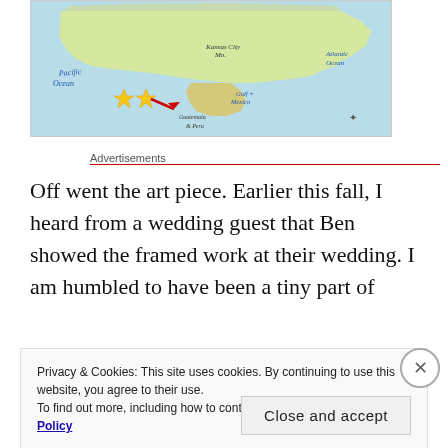[Figure (illustration): A hand-drawn illustrated map of North America showing the United States, with labels for Pacific Ocean, Atlantic Ocean, Kansas City MO, Gulf of Mexico, Mexico, Guatemala & Peru. Yellow stars and a red arrow are visible.]
Advertisements
Off went the art piece. Earlier this fall, I heard from a wedding guest that Ben showed the framed work at their wedding. I am humbled to have been a tiny part of
Privacy & Cookies: This site uses cookies. By continuing to use this website, you agree to their use.
To find out more, including how to control cookies, see here: Cookie Policy
Close and accept